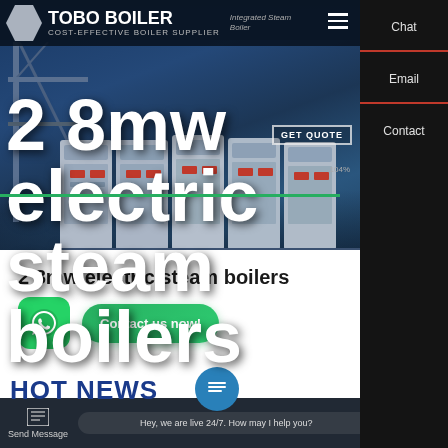TOBO BOILER – COST-EFFECTIVE BOILER SUPPLIER | Integrated Steam Boiler
[Figure (photo): Hero banner showing industrial electric steam boilers in a large blue-lit facility with 2 8mw electric steam boilers text overlay]
2 8mw electric steam boilers
2 8mw electric steam boilers
[Figure (screenshot): WhatsApp icon (green circle with phone handset) and green 'Contact us now!' button]
HOT NEWS
Send Message  |  Hey, we are live 24/7. How may I help you?  |  Inquiry Online